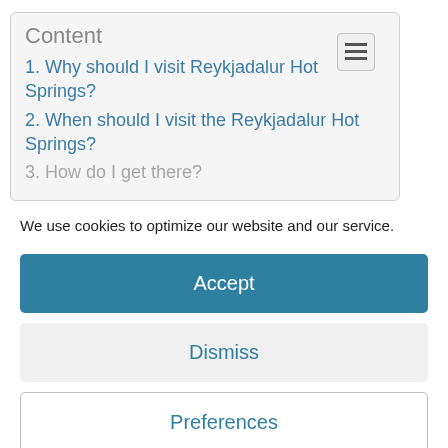Content
1. Why should I visit Reykjadalur Hot Springs?
2. When should I visit the Reykjadalur Hot Springs?
3. How do I get there?
We use cookies to optimize our website and our service.
Accept
Dismiss
Preferences
Cookie Policy  Ochrana osobních údajů